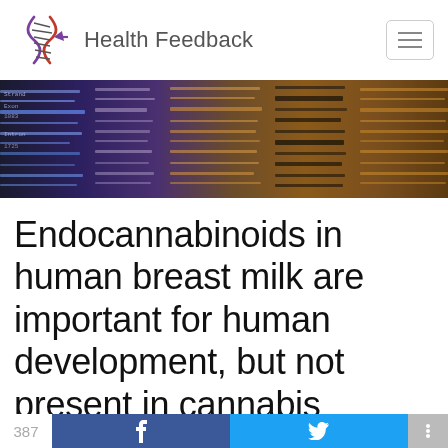Health Feedback
[Figure (photo): Abstract blurred image of scientific gel electrophoresis bands in blue, purple, and orange/brown tones]
Endocannabinoids in human breast milk are important for human development, but not present in cannabis